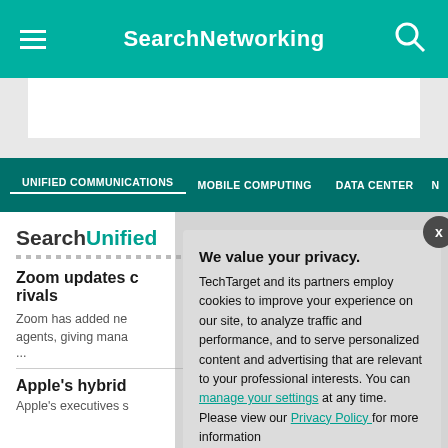SearchNetworking
UNIFIED COMMUNICATIONS   MOBILE COMPUTING   DATA CENTER   N
SearchUnified...
Zoom updates ... rivals
Zoom has added ne... agents, giving mana... ...
Apple's hybrid ...
Apple's executives s...
We value your privacy. TechTarget and its partners employ cookies to improve your experience on our site, to analyze traffic and performance, and to serve personalized content and advertising that are relevant to your professional interests. You can manage your settings at any time. Please view our Privacy Policy for more information